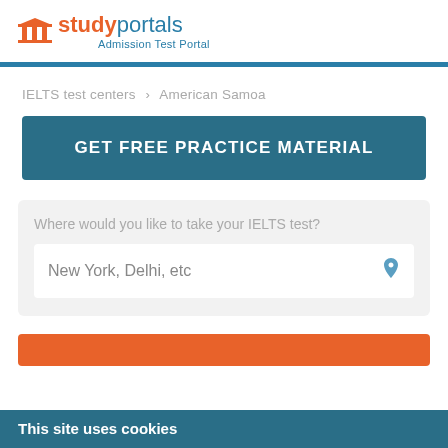[Figure (logo): StudyPortals logo with orange column icon, 'study' in orange bold and 'portals' in blue, subtitle 'Admission Test Portal' in blue]
IELTS test centers > American Samoa
GET FREE PRACTICE MATERIAL
Where would you like to take your IELTS test?
New York, Delhi, etc
This site uses cookies